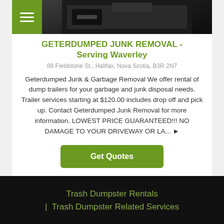[Figure (photo): Top portion of a dark-colored dump trailer or truck bed, photographed from below/front angle]
GETERDUMPED JUNK REMOVAL - Serving Waverley
89 Fieldstone St., Halifax, Nova Scotia, B3R 2N7
Geterdumped Junk & Garbage Removal We offer rental of dump trailers for your garbage and junk disposal needs. Trailer services starting at $120.00 includes drop off and pick up. Contact Geterdumped Junk Removal for more information. LOWEST PRICE GUARANTEED!!! NO DAMAGE TO YOUR DRIVEWAY OR LA... ▶
Get Quotes
Trash Dumpster Rentals | Trash Dumpster Related Services